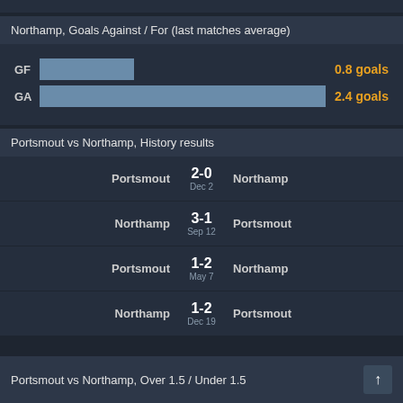Northamp, Goals Against / For (last matches average)
[Figure (bar-chart): Northamp Goals For/Against]
Portsmout vs Northamp, History results
| Home | Score | Date | Away |
| --- | --- | --- | --- |
| Portsmout | 2-0 | Dec 2 | Northamp |
| Northamp | 3-1 | Sep 12 | Portsmout |
| Portsmout | 1-2 | May 7 | Northamp |
| Northamp | 1-2 | Dec 19 | Portsmout |
Portsmout vs Northamp, Over 1.5 / Under 1.5